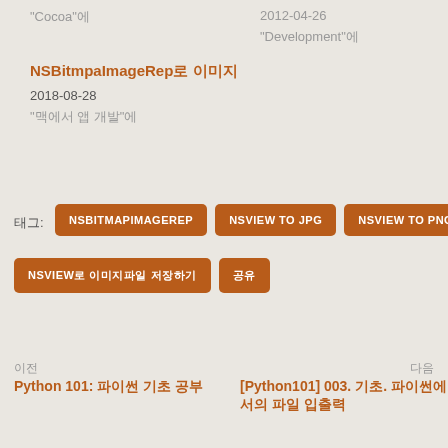"Cocoa"에
2012-04-26
"Development"에
NSBitmpaImageRep로 이미지
2018-08-28
"맥에서 앱 개발"에
태그: NSBITMAPIMAGEREP  NSVIEW TO JPG  NSVIEW TO PNG  NSVIEW로 이미지파일 저장하기  공유
이전
다음
Python 101: 파이썬 기초 공부
[Python101] 003. 기초. 파이썬에서의 파일 입출력